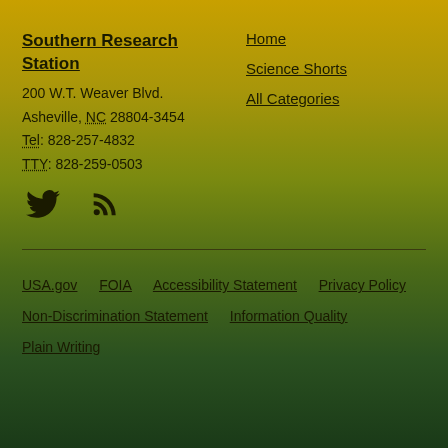Southern Research Station
200 W.T. Weaver Blvd.
Asheville, NC 28804-3454
Tel: 828-257-4832
TTY: 828-259-0503
Home
Science Shorts
All Categories
[Figure (illustration): Twitter bird icon and RSS feed icon]
USA.gov   FOIA   Accessibility Statement   Privacy Policy   Non-Discrimination Statement   Information Quality   Plain Writing